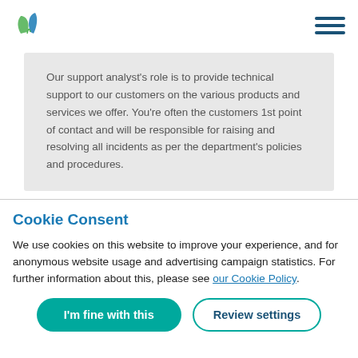[Figure (logo): Green and blue leaf/plant logo in the top left header]
Our support analyst’s role is to provide technical support to our customers on the various products and services we offer. You’re often the customers 1st point of contact and will be responsible for raising and resolving all incidents as per the department’s policies and procedures.
Cookie Consent
We use cookies on this website to improve your experience, and for anonymous website usage and advertising campaign statistics. For further information about this, please see our Cookie Policy.